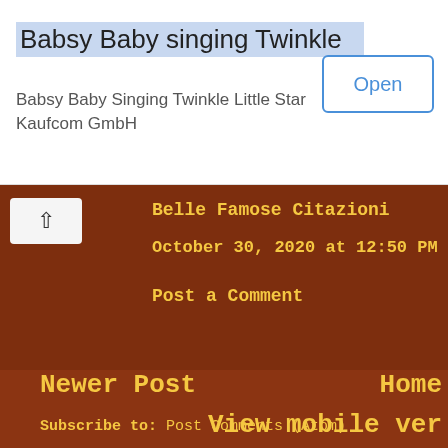[Figure (screenshot): Advertisement banner for 'Babsy Baby singing Twinkle' app by Kaufcom GmbH with an Open button]
Babsy Baby singing Twinkle
Babsy Baby Singing Twinkle Little Star Kaufcom GmbH
Belle Famose Citazioni
October 30, 2020 at 12:50 PM
Post a Comment
Newer Post
Home
View mobile ver
Subscribe to: Post Comments (Atom)